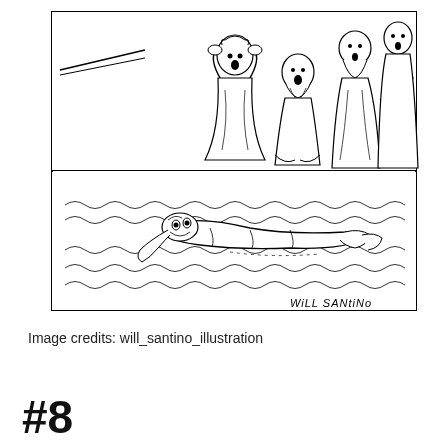[Figure (illustration): Black and white line drawing illustration showing a biblical scene. Upper panel: four robed figures standing and kneeling, appearing distressed with hands on heads, mouths open in shock. Lower panel: a body of water (sea/lake) with a figure lying flat on the surface of the water, face-up. Wavy lines indicate water. Artist signature 'WILL SANTINO' appears at bottom right of illustration.]
Image credits: will_santino_illustration
#8